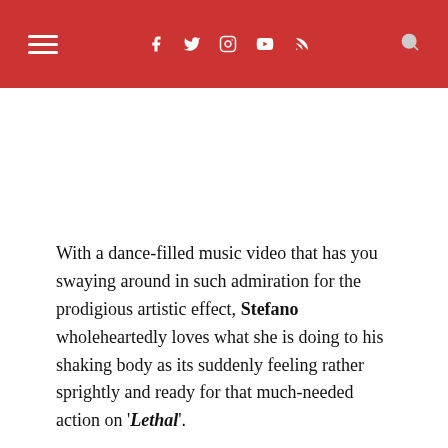Navigation bar with hamburger menu and social icons: Facebook, Twitter, Instagram, YouTube, RSS, Search
With a dance-filled music video that has you swaying around in such admiration for the prodigious artistic effect, Stefano wholeheartedly loves what she is doing to his shaking body as its suddenly feeling rather sprightly and ready for that much-needed action on 'Lethal'.